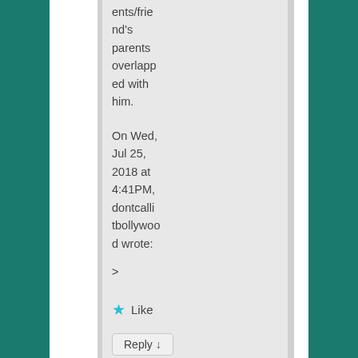ents/friend's parents overlapped with him.
On Wed, Jul 25, 2018 at 4:41PM, dontcallitbollywood wrote:
>
★ Like
Reply ↓